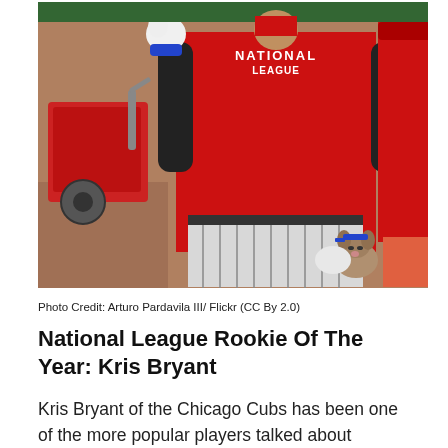[Figure (photo): A baseball player in a red National League jersey and pinstripe pants, holding a small dog dressed in a matching outfit. Another player in red is visible on the right. A red equipment cart is in the background on the left.]
Photo Credit: Arturo Pardavila III/ Flickr (CC By 2.0)
National League Rookie Of The Year: Kris Bryant
Kris Bryant of the Chicago Cubs has been one of the more popular players talked about throughout